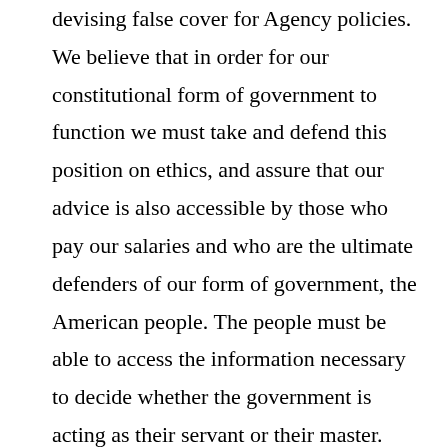devising false cover for Agency policies. We believe that in order for our constitutional form of government to function we must take and defend this position on ethics, and assure that our advice is also accessible by those who pay our salaries and who are the ultimate defenders of our form of government, the American people. The people must be able to access the information necessary to decide whether the government is acting as their servant or their master. The people must be able to learn whether government decisions are being made for their benefit or the benefit of other interests. Taking action to protect the ethical environment of our work place and to see that the people can make these informed judgements is the center piece of our philosophy of civil service.